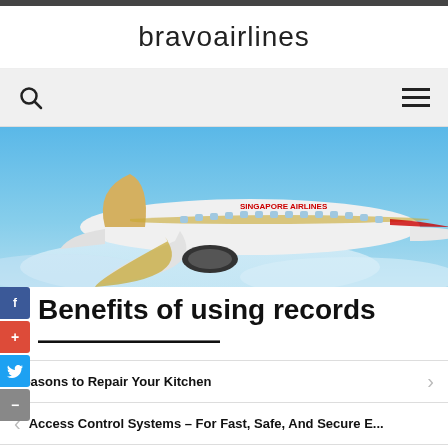bravoairlines
[Figure (screenshot): Navigation bar with search icon (magnifying glass) on the left and hamburger menu icon on the right, on a light gray background]
[Figure (photo): Singapore Airlines aircraft in flight against a blue sky background]
Benefits of using records
Reasons to Repair Your Kitchen
Access Control Systems – For Fast, Safe, And Secure E...